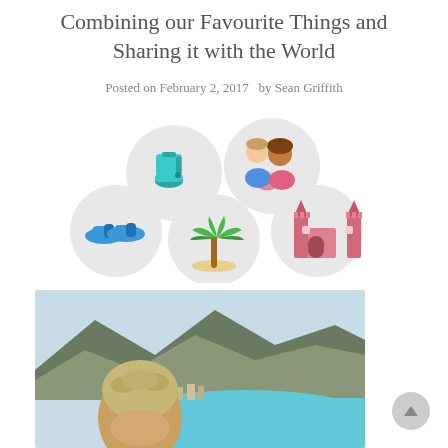Combining our Favourite Things and Sharing it with the World
Posted on February 2, 2017  by Sean Griffith
[Figure (illustration): Five circular icon badges arranged in two rows: top row has a kitchen mixer (teal) and a family illustration (man, woman, baby); bottom row has blue sneakers, a palm tree on sand, and a pink castle/cathedral. All icons on light grey circular backgrounds.]
[Figure (photo): Photo of a young man with sunglasses on his head, outdoors with an aerial coastal view behind him showing mountains, a bay, shoreline town, and turquoise water.]